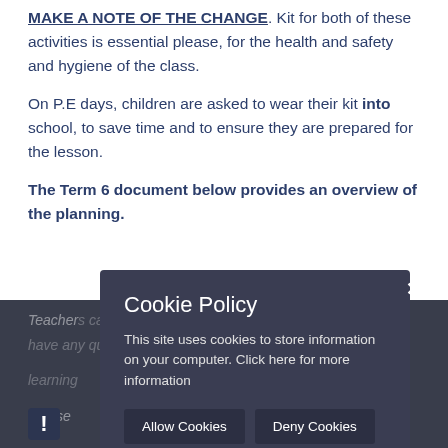MAKE A NOTE OF THE CHANGE. Kit for both of these activities is essential please, for the health and safety and hygiene of the class.
On P.E days, children are asked to wear their kit into school, to save time and to ensure they are prepared for the lesson.
The Term 6 document below provides an overview of the planning.
Teachers can be contacted via Class Dojo if you have any questions or queries regarding the ho... learning...
Please ... phonics read...
[Figure (screenshot): Cookie Policy modal overlay on dark background. Title: Cookie Policy. Body: This site uses cookies to store information on your computer. Click here for more information. Buttons: Allow Cookies, Deny Cookies. Close button (x) top right.]